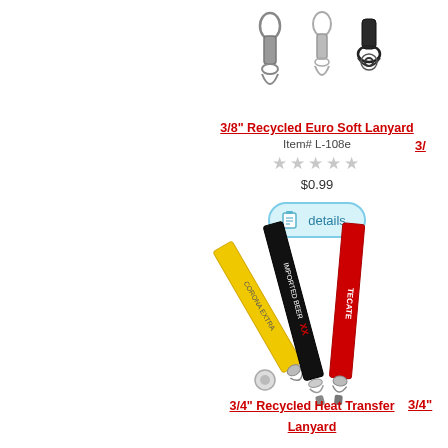[Figure (photo): Photo of 3/8 inch Recycled Euro Soft Lanyard showing metal hook and ring attachments]
3/8" Recycled Euro Soft Lanyard
Item# L-108e
★★★★★ (empty stars rating)
$0.99
[Figure (other): Details button with clipboard icon]
[Figure (photo): Photo of 3/4 inch Recycled Heat Transfer Lanyard showing yellow, black, and red lanyards with logo prints]
3/4" Recycled Heat Transfer Lanyard
3/4" (partial, right edge, cut off)